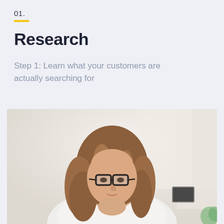01.
Research
Step 1: Learn what your customers are actually searching for
[Figure (photo): A woman with glasses and long brown hair sits thoughtfully with her hand under her chin, looking downward, photographed in a bright white environment. A small device is visible in the background.]